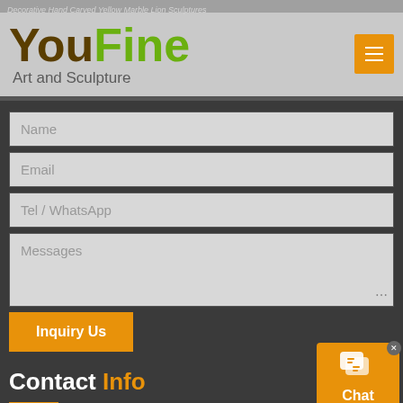Decorative Hand Carved Yellow Marble Lion Sculptures
[Figure (logo): YouFine Art and Sculpture logo with brown 'You' and green 'Fine' text, Art and Sculpture subtitle, and orange hamburger menu button]
Name
Email
Tel / WhatsApp
Messages
Inquiry Us
Contact Info
Add:
[Figure (other): Orange chat widget with speech bubble icon and 'Chat Now' label, with close X button]